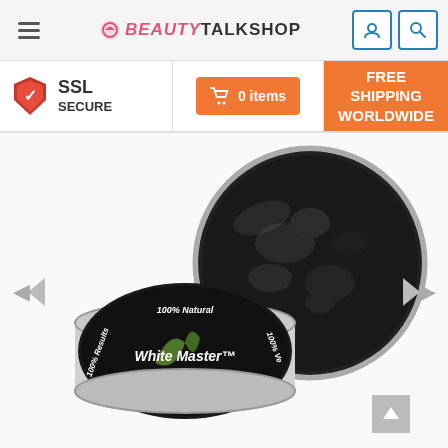BeautyTalkShop navigation bar with hamburger menu, logo, user icon and search icon
SSL SECURE | 0 items | FREE SHIPPING WORLDWIDE
[Figure (photo): Product photo of White Master activated charcoal powder in a silver tin container. The open tin lid shows black powder inside. The front tin has a label reading '100% Natural', '100% Results', 'White Master™', '100% Ve[gan]' with a palm leaf graphic.]